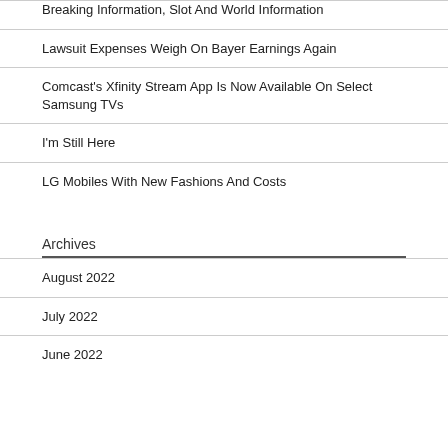Breaking Information, Slot And World Information
Lawsuit Expenses Weigh On Bayer Earnings Again
Comcast's Xfinity Stream App Is Now Available On Select Samsung TVs
I'm Still Here
LG Mobiles With New Fashions And Costs
Archives
August 2022
July 2022
June 2022